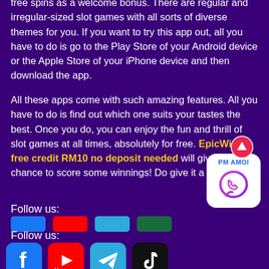free spins as a welcome bonus. There are regular and irregular-sized slot games with all sorts of diverse themes for you. If you want to try this app out, all you have to do is go to the Play Store of your Android device or the Apple Store of your iPhone device and then download the app.
All these apps come with such amazing features. All you have to do is find out which one suits your tastes the best. Once you do, you can enjoy the fun and thrill of slot games at all times, absolutely for free. EpicWin free credit RM10 no deposit needed will give you a chance to score some winnings! Do give it a shot!
Follow us:
[Figure (infographic): WhatsApp contact button with PM AMOI text and WhatsApp logo in purple, white rounded square background]
[Figure (infographic): Red circle with up arrow icon]
Follow us:
[Figure (infographic): Social media icons: Facebook (blue f), YouTube (red), Telegram (blue paper plane), TikTok (black music note)]